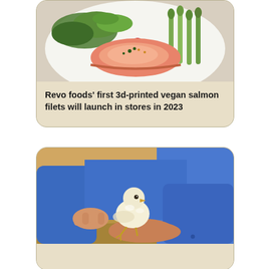[Figure (photo): Card with photo of grilled salmon fillet with salad greens, arugula, cherry tomatoes on a white plate]
Revo foods' first 3d-printed vegan salmon filets will launch in stores in 2023
[Figure (photo): Card with photo of a person in blue shirt holding a small white chick in a poultry farm]